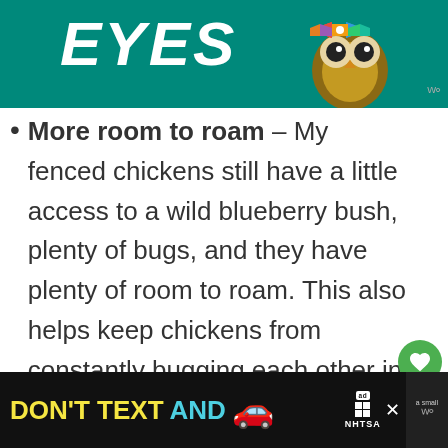[Figure (photo): Top advertisement banner with teal/green background showing the word EYES in large white italic bold text and an owl with a colorful bow tie on the right side. Ad marker icon in bottom right corner.]
More room to roam – My fenced chickens still have a little access to a wild blueberry bush, plenty of bugs, and they have plenty of room to roam. This also helps keep chickens from constantly bugging each other in close quarters. With the pecking order, it's just not great for chickens to be confined to a small area. You may see
[Figure (screenshot): What's Next overlay showing thumbnail of food and text 'Easy Gourmet Snack |...']
[Figure (photo): Bottom advertisement banner: black background with DON'T TEXT AND in yellow/cyan text, a red car emoji, ad badge, and NHTSA logo. Anti-texting and driving PSA.]